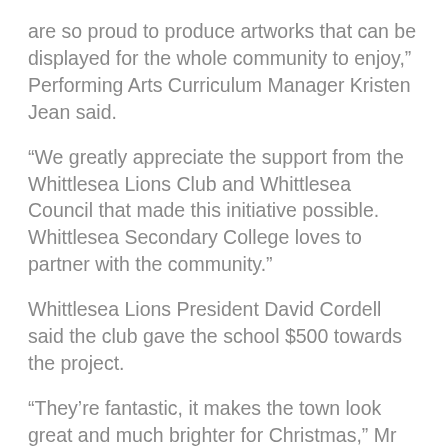are so proud to produce artworks that can be displayed for the whole community to enjoy," Performing Arts Curriculum Manager Kristen Jean said.
“We greatly appreciate the support from the Whittlesea Lions Club and Whittlesea Council that made this initiative possible. Whittlesea Secondary College loves to partner with the community.”
Whittlesea Lions President David Cordell said the club gave the school $500 towards the project.
“They’re fantastic, it makes the town look great and much brighter for Christmas,” Mr Cordell said.
The students said it was a great opportunity to brighten up their township for Christmas, especially after such a challenging year.